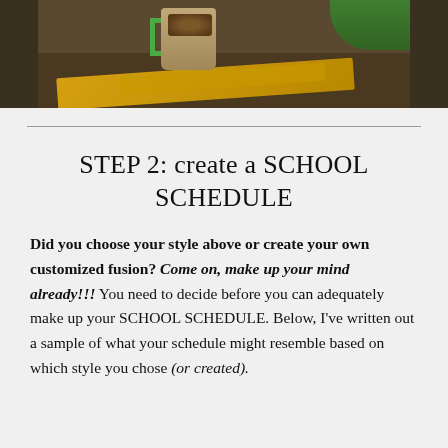[Figure (photo): Photo of a coffee mug sitting on top of a magazine on a wooden table, showing partial view cropped at top]
STEP 2: create a SCHOOL SCHEDULE
Did you choose your style above or create your own customized fusion? Come on, make up your mind already!!! You need to decide before you can adequately make up your SCHOOL SCHEDULE. Below, I've written out a sample of what your schedule might resemble based on which style you chose (or created).